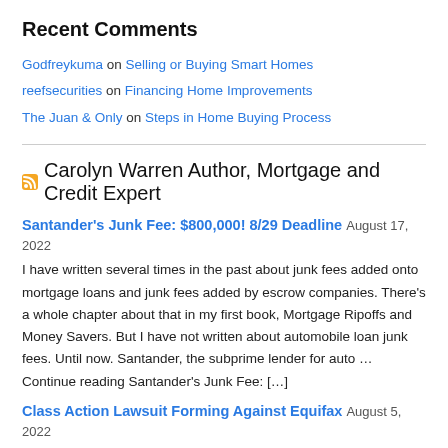Recent Comments
Godfreykuma on Selling or Buying Smart Homes
reefsecurities on Financing Home Improvements
The Juan & Only on Steps in Home Buying Process
Carolyn Warren Author, Mortgage and Credit Expert
Santander's Junk Fee: $800,000! 8/29 Deadline August 17, 2022
I have written several times in the past about junk fees added onto mortgage loans and junk fees added by escrow companies. There's a whole chapter about that in my first book, Mortgage Ripoffs and Money Savers. But I have not written about automobile loan junk fees. Until now. Santander, the subprime lender for auto … Continue reading Santander's Junk Fee: […]
Class Action Lawsuit Forming Against Equifax August 5, 2022
First, some information about the class action lawsuit, including who can and how to join. Second, why I think there's a whole more behind the scenes than anyone has said so far — and why Equifax isn't the only